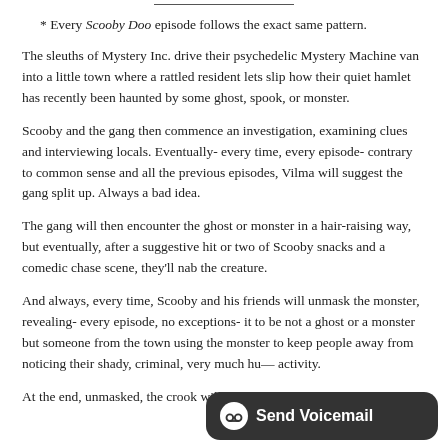* Every Scooby Doo episode follows the exact same pattern.
The sleuths of Mystery Inc. drive their psychedelic Mystery Machine van into a little town where a rattled resident lets slip how their quiet hamlet has recently been haunted by some ghost, spook, or monster.
Scooby and the gang then commence an investigation, examining clues and interviewing locals. Eventually- every time, every episode- contrary to common sense and all the previous episodes, Vilma will suggest the gang split up. Always a bad idea.
The gang will then encounter the ghost or monster in a hair-raising way, but eventually, after a suggestive hit or two of Scooby snacks and a comedic chase scene, they'll nab the creature.
And always, every time, Scooby and his friends will unmask the monster, revealing- every episode, no exceptions- it to be not a ghost or a monster but someone from the town using the monster to keep people away from noticing their shady, criminal, very much hu— activity.
At the end, unmasked, the crook will always walk off in cuffs grousing